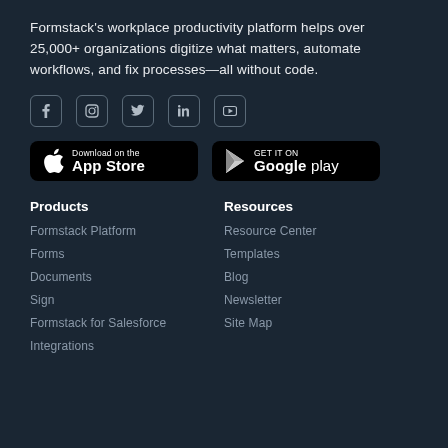Formstack’s workplace productivity platform helps over 25,000+ organizations digitize what matters, automate workflows, and fix processes—all without code.
[Figure (infographic): Social media icons: Facebook, Instagram, Twitter, LinkedIn, YouTube]
[Figure (infographic): Download on the App Store button and Get it on Google play button]
Products
Formstack Platform
Forms
Documents
Sign
Formstack for Salesforce
Integrations
Resources
Resource Center
Templates
Blog
Newsletter
Site Map